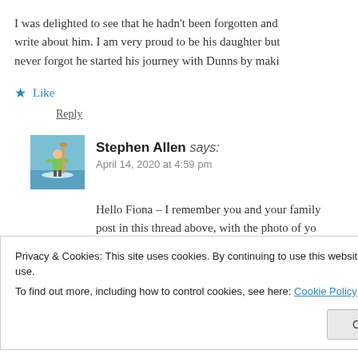I was delighted to see that he hadn't been forgotten and write about him. I am very proud to be his daughter but never forgot he started his journey with Dunns by maki
★ Like
Reply
Stephen Allen says:
April 14, 2020 at 4:59 pm
[Figure (photo): Avatar photo of Stephen Allen, showing a person on a paddleboard on water with a green jacket]
Hello Fiona – I remember you and your family post in this thread above, with the photo of yo dress circa 1968/9 at Saunton Sands Hotel. Th
Privacy & Cookies: This site uses cookies. By continuing to use this website, you agree to their use.
To find out more, including how to control cookies, see here: Cookie Policy
Close and accept